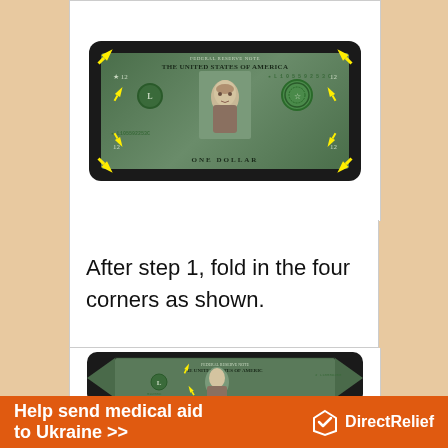[Figure (photo): US one dollar bill flat, with yellow arrows pointing to all four corners indicating fold points. Bill shows THE UNITED STATES OF AMERICA, serial number L105592253C, portrait of George Washington, and ONE DOLLAR text at bottom.]
After step 1, fold in the four corners as shown.
[Figure (photo): US one dollar bill with corners folded in, creating a diamond/kite shape. Yellow arrows point inward showing the folded corners. Shows IE UNITED STATES OF AMERIC text, L10559250 serial, portrait of Washington, L seal, and serial number fragment 59250.]
Help send medical aid to Ukraine >>